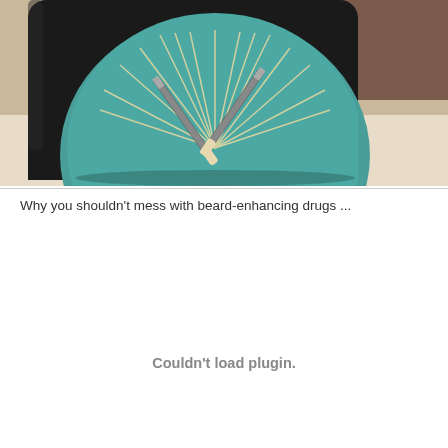[Figure (photo): Close-up photo of a dark jar with a teal/green circular label reading 'BEARD FIBER - BRIGHTENS BEARDS IN A FLASH' with crossed straight razors design, placed on a light surface]
Why you shouldn't mess with beard-enhancing drugs ...
Couldn't load plugin.